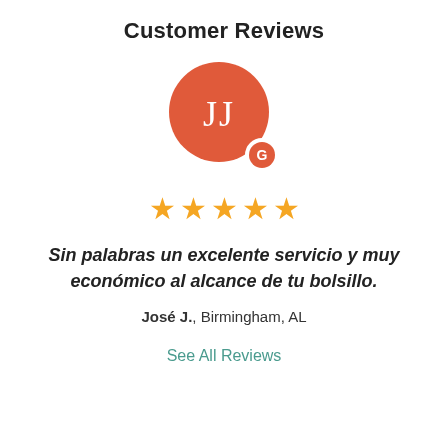Customer Reviews
[Figure (illustration): Circular avatar with initials JJ on a red/coral background, with a small Google G badge circle at the bottom right]
[Figure (illustration): Five golden star rating icons in a row]
Sin palabras un excelente servicio y muy económico al alcance de tu bolsillo.
José J., Birmingham, AL
See All Reviews